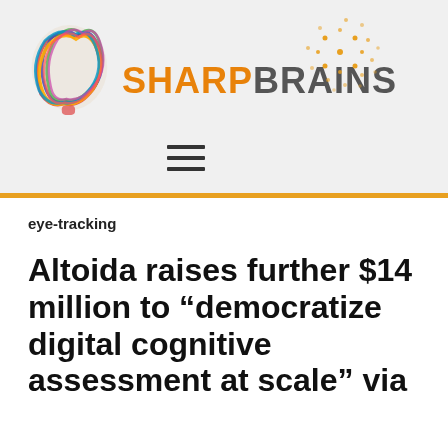[Figure (logo): SharpBrains logo with colorful brain illustration and orange/gray text, plus decorative dots]
eye-tracking
Altoida raises further $14 million to “democratize digital cognitive assessment at scale” via